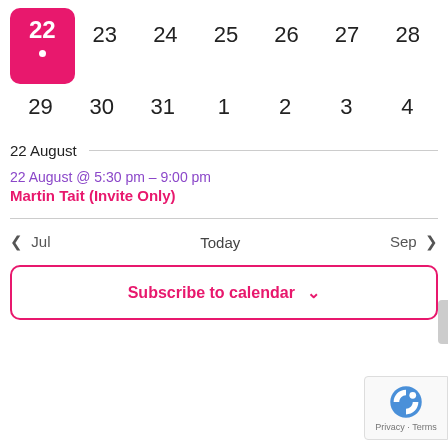[Figure (other): Calendar widget showing dates 22-28 (top row) and 29-4 (second row), with 22 highlighted in pink as today]
22 August
22 August @ 5:30 pm – 9:00 pm
Martin Tait (Invite Only)
< Jul   Today   Sep >
Subscribe to calendar  ∨
[Figure (other): Google reCAPTCHA badge with Privacy · Terms text]